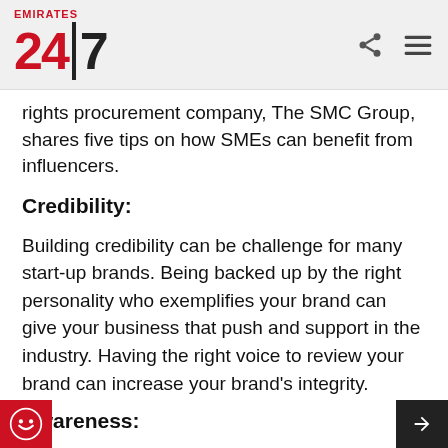Emirates 24|7
rights procurement company, The SMC Group, shares five tips on how SMEs can benefit from influencers.
Credibility:
Building credibility can be challenge for many start-up brands. Being backed up by the right personality who exemplifies your brand can give your business that push and support in the industry. Having the right voice to review your brand can increase your brand’s integrity.
Awareness: